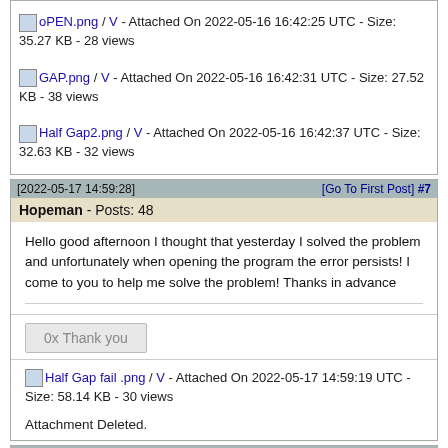oPEN.png / V - Attached On 2022-05-16 16:42:25 UTC - Size: 35.27 KB - 28 views
GAP.png / V - Attached On 2022-05-16 16:42:31 UTC - Size: 27.52 KB - 38 views
Half Gap2.png / V - Attached On 2022-05-16 16:42:37 UTC - Size: 32.63 KB - 32 views
[2022-05-17 14:59:28]  [Go To First Post] #7
Hopeman - Posts: 48
Hello good afternoon I thought that yesterday I solved the problem and unfortunately when opening the program the error persists! I come to you to help me solve the problem! Thanks in advance
0x Thank you
Half Gap fail .png / V - Attached On 2022-05-17 14:59:19 UTC - Size: 58.14 KB - 30 views
Attachment Deleted.
[2022-05-17 ...  [Go To First Post] #8